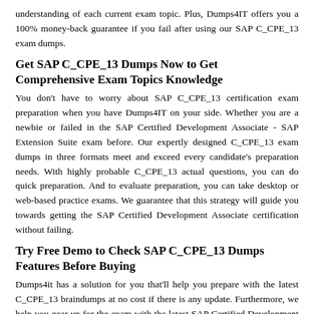understanding of each current exam topic. Plus, Dumps4IT offers you a 100% money-back guarantee if you fail after using our SAP C_CPE_13 exam dumps.
Get SAP C_CPE_13 Dumps Now to Get Comprehensive Exam Topics Knowledge
You don't have to worry about SAP C_CPE_13 certification exam preparation when you have Dumps4IT on your side. Whether you are a newbie or failed in the SAP Certified Development Associate - SAP Extension Suite exam before. Our expertly designed C_CPE_13 exam dumps in three formats meet and exceed every candidate's preparation needs. With highly probable C_CPE_13 actual questions, you can do quick preparation. And to evaluate preparation, you can take desktop or web-based practice exams. We guarantee that this strategy will guide you towards getting the SAP Certified Development Associate certification without failing.
Try Free Demo to Check SAP C_CPE_13 Dumps Features Before Buying
Dumps4it has a solution for you that'll help you prepare with the latest C_CPE_13 braindumps at no cost if there is any update. Furthermore, we help you gear up for the exam with the latest SAP Certified Development Associate - SAP Extension Suite C_CPE_13 dumps. With Dumps4IT...